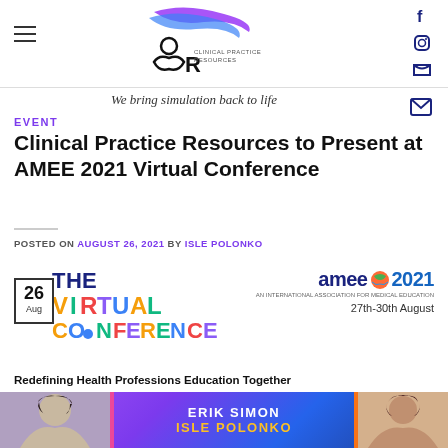[Figure (logo): Clinical Practice Resources logo with stylized hair/figure icon and blue/purple swoosh, text reads CLINICAL PRACTICE RESOURCES]
We bring simulation back to life
EVENT
Clinical Practice Resources to Present at AMEE 2021 Virtual Conference
POSTED ON AUGUST 26, 2021 BY ISLE POLONKO
[Figure (infographic): The Virtual Conference logo with calendar showing 26 Aug, colorful text, and AMEE 2021 branding with 27th-30th August dates]
Redefining Health Professions Education Together
[Figure (photo): Speaker banner with photos of Erik Simon and Isle Polonko on purple/blue gradient background]